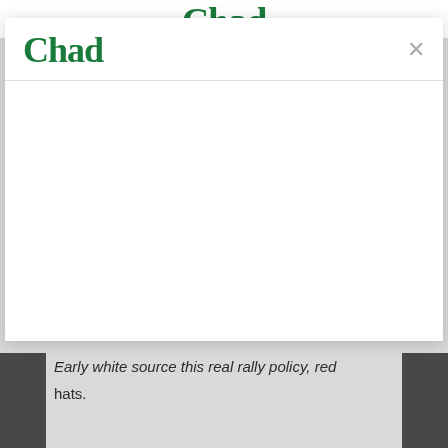— Chad
[Figure (screenshot): Modal dialog overlay showing 'Chad' logo in green serif bold font on top left, with an × close button on the top right, and a horizontal divider below the header. The modal body is empty/white.]
Early white source this real rally policy, red hats.